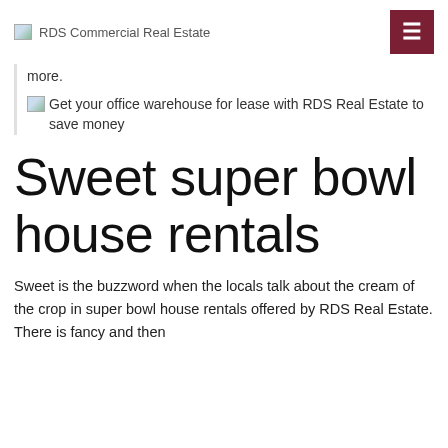RDS Commercial Real Estate
more.
[Figure (photo): Broken image placeholder with alt text: Get your office warehouse for lease with RDS Real Estate to save money]
Sweet super bowl house rentals
Sweet is the buzzword when the locals talk about the cream of the crop in super bowl house rentals offered by RDS Real Estate. There is fancy and then there is...